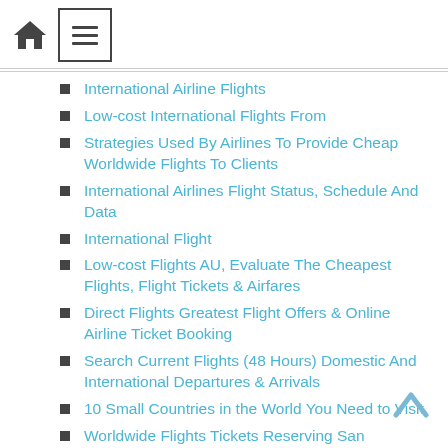[Figure (other): Home icon (house silhouette) in dark gray]
[Figure (other): Hamburger menu icon (three horizontal lines) inside a square border]
International Airline Flights
Low-cost International Flights From
Strategies Used By Airlines To Provide Cheap Worldwide Flights To Clients
International Airlines Flight Status, Schedule And Data
International Flight
Low-cost Flights AU, Evaluate The Cheapest Flights, Flight Tickets & Airfares
Direct Flights Greatest Flight Offers & Online Airline Ticket Booking
Search Current Flights (48 Hours) Domestic And International Departures & Arrivals
10 Small Countries in the World You Need to Visit
Worldwide Flights Tickets Reserving San Francisco International Airport